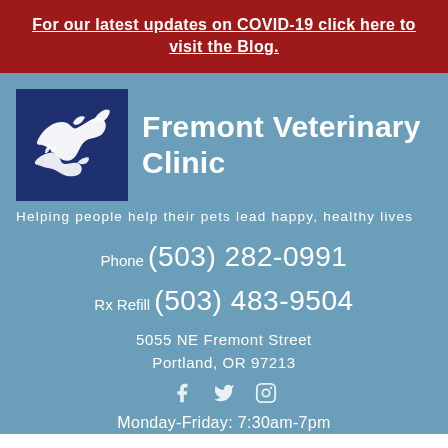For our latest updates on COVID-19 click here to visit the Blog.
[Figure (logo): Fremont Veterinary Clinic logo: dark blue square with white dog and cat silhouettes leaping]
Fremont Veterinary Clinic
Helping people help their pets lead happy, healthy lives
Phone (503) 282-0991
Rx Refill (503) 483-9504
5055 NE Fremont Street
Portland, OR 97213
[Figure (infographic): Social media icons: Facebook, Twitter, Instagram]
Monday-Friday: 7:30am-7pm
Saturday: 8am-3:30pm